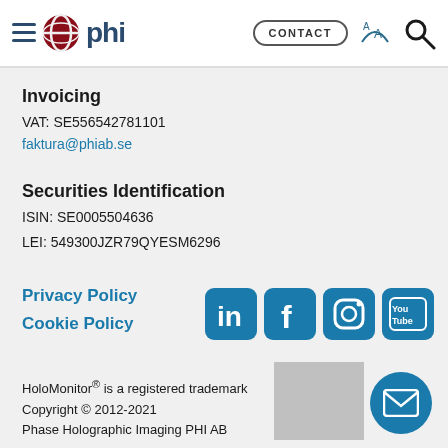phi — CONTACT
Invoicing
VAT: SE556542781101
faktura@phiab.se
Securities Identification
ISIN: SE0005504636
LEI: 549300JZR79QYESM6296
Privacy Policy
Cookie Policy
[Figure (logo): Social media icons: LinkedIn, Facebook, Instagram, YouTube]
HoloMonitor® is a registered trademark
Copyright © 2012-2021
Phase Holographic Imaging PHI AB
[Figure (illustration): Email contact button (envelope icon in teal circle)]